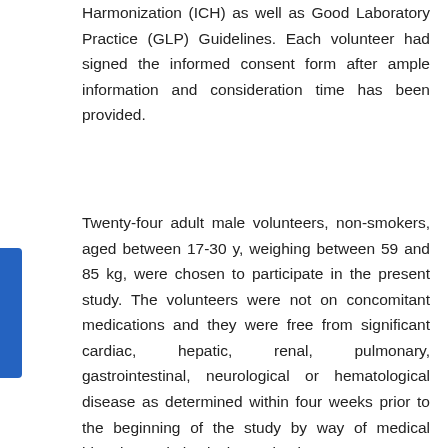Harmonization (ICH) as well as Good Laboratory Practice (GLP) Guidelines. Each volunteer had signed the informed consent form after ample information and consideration time has been provided.
Twenty-four adult male volunteers, non-smokers, aged between 17-30 y, weighing between 59 and 85 kg, were chosen to participate in the present study. The volunteers were not on concomitant medications and they were free from significant cardiac, hepatic, renal, pulmonary, gastrointestinal, neurological or hematological disease as determined within four weeks prior to the beginning of the study by way of medical histories and physical examinations.